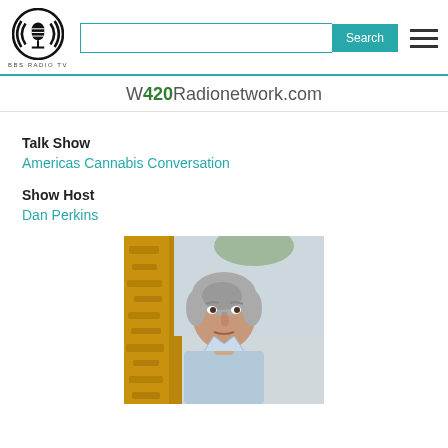[Figure (logo): BBS Radio TV logo - circular emblem with microphone icon, black and white]
W420Radionetwork.com
Talk Show
Americas Cannabis Conversation
Show Host
Dan Perkins
[Figure (photo): Headshot of Dan Perkins, older man with gray hair wearing a light blue shirt, standing near a yellow-brown textured wall or tree bark, outdoor setting]